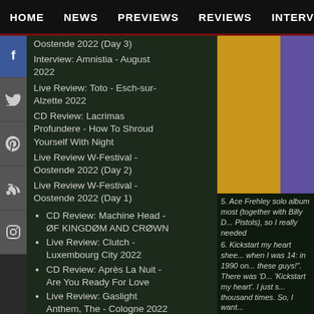HOME | NEWS | PREVIEWS | REVIEWS | INTERVI...
Oostende 2022 (Day 3)
Interview: Amnistia - August 2022
Live Review: Toto - Esch-sur-Alzette 2022
CD Review: Lacrimas Profundere - How To Shroud Yourself With Night
Live Review W-Festival - Oostende 2022 (Day 2)
Live Review W-Festival - Oostende 2022 (Day 1)
CD Review: Machine Head - ØF KINGDØM AND CRØWN
Live Review: Clutch - Luxembourg City 2022
CD Review: Après La Nuit - Are You Ready For Love
Live Review: Gaslight Anthem, The - Cologne 2022
Live Review: Rocco del Schlacko - Püttlingen 2022
[Figure (photo): Partial photo showing yellow and purple/blue colors, appears to be a performer or album art]
5. Ace Frehley solo album most (together with Billy D... Pistols), so I really needed
6. Kickstart my heart shee... when I was 14: in 1990 on... these guys!". There was 'D... 'Kickstart my heart'. I just s... thousand times. So, I want...
7. "Rocker" lettering: Well,...
8. "I'm quite bizarre, I'm lik... that song with Livio, but lyr... that verse too, so some ye...
9. M letter: M is my "family... called Marta. So, it's some...
10. Dominatrix: Well, let's...
11. Muttley: When I was a...